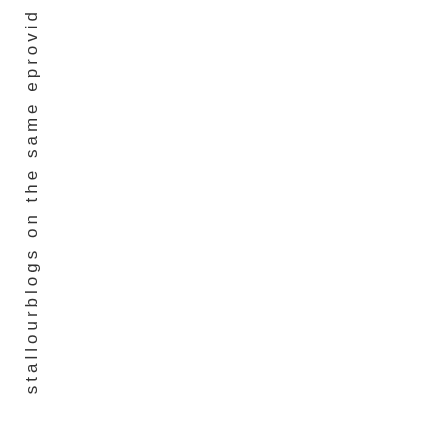stallourblogs on the same eprovid